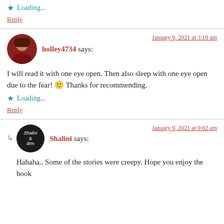Loading...
Reply
holley4734 says:
January 9, 2021 at 3:19 am
I will read it with one eye open. Then also sleep with one eye open due to the fear! 🙂 Thanks for recommending.
Loading...
Reply
Shalini says:
January 9, 2021 at 9:02 am
Hahaha.. Some of the stories were creepy. Hope you enjoy the book